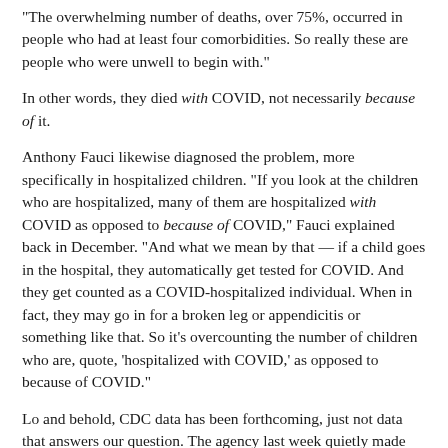“The overwhelming number of deaths, over 75%, occurred in people who had at least four comorbidities. So really these are people who were unwell to begin with.”
In other words, they died with COVID, not necessarily because of it.
Anthony Fauci likewise diagnosed the problem, more specifically in hospitalized children. “If you look at the children who are hospitalized, many of them are hospitalized with COVID as opposed to because of COVID,” Fauci explained back in December. “And what we mean by that — if a child goes in the hospital, they automatically get tested for COVID. And they get counted as a COVID-hospitalized individual. When in fact, they may go in for a broken leg or appendicitis or something like that. So it’s overcounting the number of children who are, quote, ‘hospitalized with COVID,’ as opposed to because of COVID.”
Lo and behold, CDC data has been forthcoming, just not data that answers our question. The agency last week quietly made changes to its COVID data tracker, explaining on the site: “Data on deaths were adjusted after resolving a coding logic error. This resulted in decreased death counts across all demographic categories.” Reuters further explains that the CDC’s “algorithm was accidentally counting deaths that